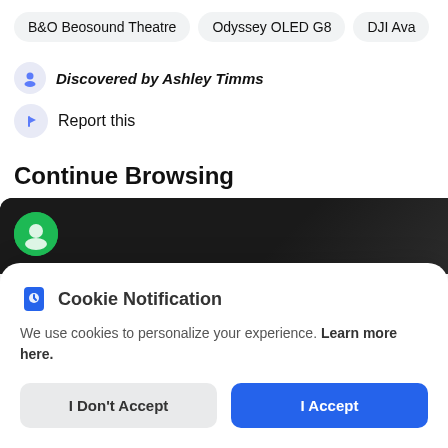B&O Beosound Theatre
Odyssey OLED G8
DJI Ava
Discovered by Ashley Timms
Report this
Continue Browsing
[Figure (screenshot): Dark background image strip with a green circular icon at bottom left]
Cookie Notification
We use cookies to personalize your experience. Learn more here.
I Don't Accept
I Accept